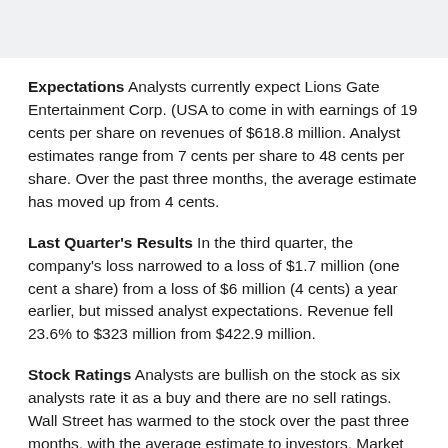Expectations Analysts currently expect Lions Gate Entertainment Corp. (USA to come in with earnings of 19 cents per share on revenues of $618.8 million. Analyst estimates range from 7 cents per share to 48 cents per share. Over the past three months, the average estimate has moved up from 4 cents.
Last Quarter's Results In the third quarter, the company's loss narrowed to a loss of $1.7 million (one cent a share) from a loss of $6 million (4 cents) a year earlier, but missed analyst expectations. Revenue fell 23.6% to $323 million from $422.9 million.
Stock Ratings Analysts are bullish on the stock as six analysts rate it as a buy and there are no sell ratings. Wall Street has warmed to the stock over the past three months, with the average...